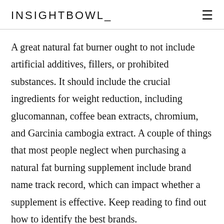INSIGHTBOWL
A great natural fat burner ought to not include artificial additives, fillers, or prohibited substances. It should include the crucial ingredients for weight reduction, including glucomannan, coffee bean extracts, chromium, and Garcinia cambogia extract. A couple of things that most people neglect when purchasing a natural fat burning supplement include brand name track record, which can impact whether a supplement is effective. Keep reading to find out how to identify the best brands.